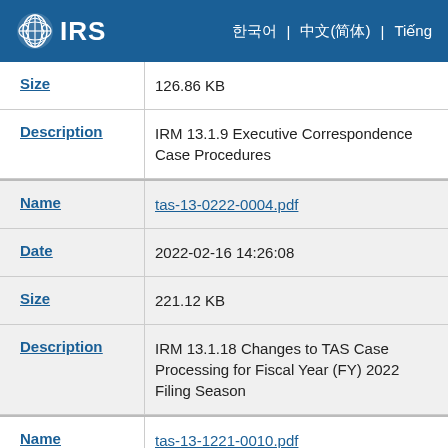IRS
| Field | Value |
| --- | --- |
| Size | 126.86 KB |
| Description | IRM 13.1.9 Executive Correspondence Case Procedures |
| Name | tas-13-0222-0004.pdf |
| Date | 2022-02-16 14:26:08 |
| Size | 221.12 KB |
| Description | IRM 13.1.18 Changes to TAS Case Processing for Fiscal Year (FY) 2022 Filing Season |
| Name | tas-13-1221-0010.pdf |
| Date | 2022-01-20 07:18:00 |